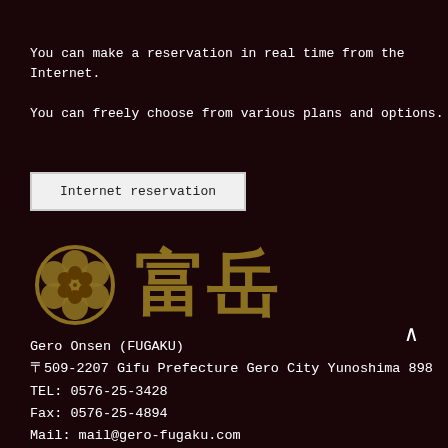You can make a reservation in real time from the Internet.
You can freely choose from various plans and options.
Internet reservation
[Figure (logo): Circular floral emblem (kamon) in gold followed by Japanese calligraphic characters 富岳 in gold on dark background]
Gero Onsen (FUGAKU)
〒509-2207 Gifu Prefecture Gero City Yunoshima 898
TEL: 0576-25-3428
Fax: 0576-25-4894
Mail: mail@gero-fugaku.com